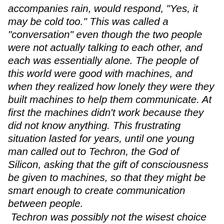accompanies rain, would respond, "Yes, it may be cold too." This was called a "conversation" even though the two people were not actually talking to each other, and each was essentially alone. The people of this world were good with machines, and when they realized how lonely they were they built machines to help them communicate. At first the machines didn't work because they did not know anything. This frustrating situation lasted for years, until one young man called out to Techron, the God of Silicon, asking that the gift of consciousness be given to machines, so that they might be smart enough to create communication between people. Techron was possibly not the wisest choice because, for reasons lost to antiquity, he replied that he would grant the young man's request only if the machine/human interface directed all resulting output through the human anus. And that is why so many people today talk out of their ass.